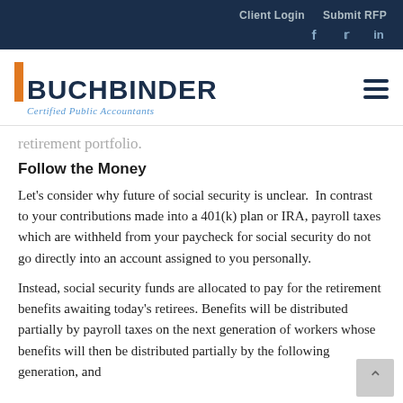Client Login   Submit RFP
[Figure (logo): Buchbinder Certified Public Accountants logo with orange bar accent and navy text]
retirement portfolio.
Follow the Money
Let's consider why future of social security is unclear.  In contrast to your contributions made into a 401(k) plan or IRA, payroll taxes which are withheld from your paycheck for social security do not go directly into an account assigned to you personally.
Instead, social security funds are allocated to pay for the retirement benefits awaiting today's retirees. Benefits will be distributed partially by payroll taxes on the next generation of workers whose benefits will then be distributed partially by the following generation, and